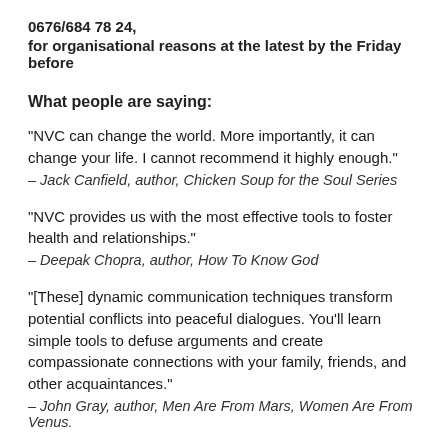0676/684 78 24,
for organisational reasons at the latest by the Friday before
What people are saying:
“NVC can change the world. More importantly, it can change your life. I cannot recommend it highly enough.”
– Jack Canfield, author, Chicken Soup for the Soul Series
“NVC provides us with the most effective tools to foster health and relationships.”
– Deepak Chopra, author, How To Know God
“[These] dynamic communication techniques transform potential conflicts into peaceful dialogues. You’ll learn simple tools to defuse arguments and create compassionate connections with your family, friends, and other acquaintances.”
– John Gray, author, Men Are From Mars, Women Are From Venus.